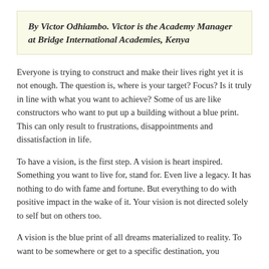By Victor Odhiambo. Victor is the Academy Manager at Bridge International Academies, Kenya
Everyone is trying to construct and make their lives right yet it is not enough. The question is, where is your target? Focus? Is it truly in line with what you want to achieve? Some of us are like constructors who want to put up a building without a blue print. This can only result to frustrations, disappointments and dissatisfaction in life.
To have a vision, is the first step. A vision is heart inspired. Something you want to live for, stand for. Even live a legacy. It has nothing to do with fame and fortune. But everything to do with positive impact in the wake of it. Your vision is not directed solely to self but on others too.
A vision is the blue print of all dreams materialized to reality. To want to be somewhere or get to a specific destination, you